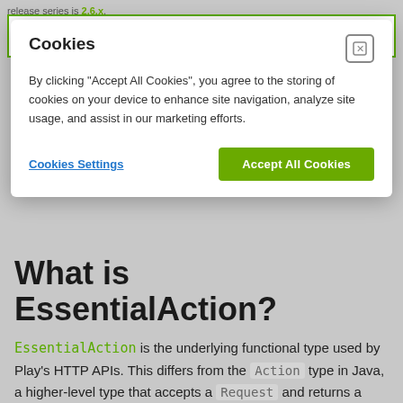release series is 2.6.x.
Search 2.8.12 documentation
Cookies
By clicking “Accept All Cookies”, you agree to the storing of cookies on your device to enhance site navigation, analyze site usage, and assist in our marketing efforts.
Cookies Settings
Accept All Cookies
What is EssentialAction?
EssentialAction is the underlying functional type used by Play’s HTTP APIs. This differs from the Action type in Java, a higher-level type that accepts a Request and returns a